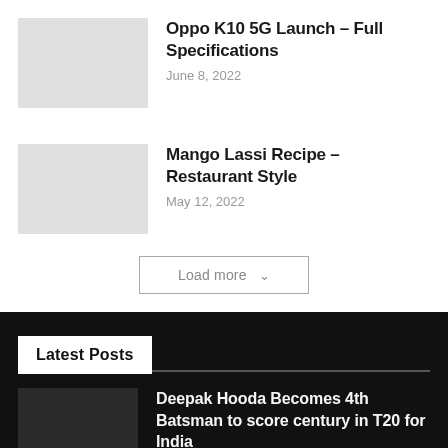Oppo K10 5G Launch – Full Specifications
June 8, 2022
Mango Lassi Recipe – Restaurant Style
May 12, 2022
Load more
Latest Posts
Deepak Hooda Becomes 4th Batsman to score century in T20 for India